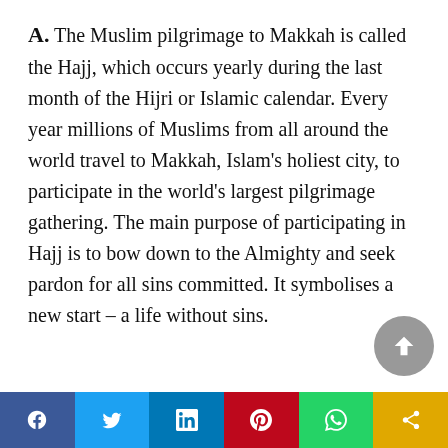A. The Muslim pilgrimage to Makkah is called the Hajj, which occurs yearly during the last month of the Hijri or Islamic calendar. Every year millions of Muslims from all around the world travel to Makkah, Islam's holiest city, to participate in the world's largest pilgrimage gathering. The main purpose of participating in Hajj is to bow down to the Almighty and seek pardon for all sins committed. It symbolises a new start – a life without sins.